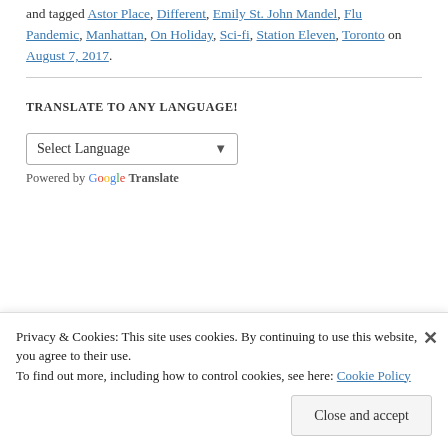and tagged Astor Place, Different, Emily St. John Mandel, Flu Pandemic, Manhattan, On Holiday, Sci-fi, Station Eleven, Toronto on August 7, 2017.
TRANSLATE TO ANY LANGUAGE!
Select Language — Powered by Google Translate
Privacy & Cookies: This site uses cookies. By continuing to use this website, you agree to their use.
To find out more, including how to control cookies, see here: Cookie Policy
Close and accept